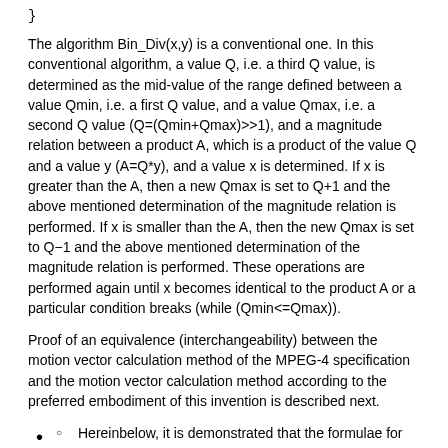}
The algorithm Bin_Div(x,y) is a conventional one. In this conventional algorithm, a value Q, i.e. a third Q value, is determined as the mid-value of the range defined between a value Qmin, i.e. a first Q value, and a value Qmax, i.e. a second Q value (Q=(Qmin+Qmax)>>1), and a magnitude relation between a product A, which is a product of the value Q and a value y (A=Q*y), and a value x is determined. If x is greater than the A, then a new Qmax is set to Q+1 and the above mentioned determination of the magnitude relation is performed. If x is smaller than the A, then the new Qmax is set to Q−1 and the above mentioned determination of the magnitude relation is performed. These operations are performed again until x becomes identical to the product A or a particular condition breaks (while (Qmin<=Qmax)).
Proof of an equivalence (interchangeability) between the motion vector calculation method of the MPEG-4 specification and the motion vector calculation method according to the preferred embodiment of this invention is described next.
Hereinbelow, it is demonstrated that the formulae for obtaining MVFx (, MVFy, MVBX, and, MVBy) according to the preferred embodiment are equivalent to (interchangeable with) the formulae according to the MPEG-4 specification and that the formulae